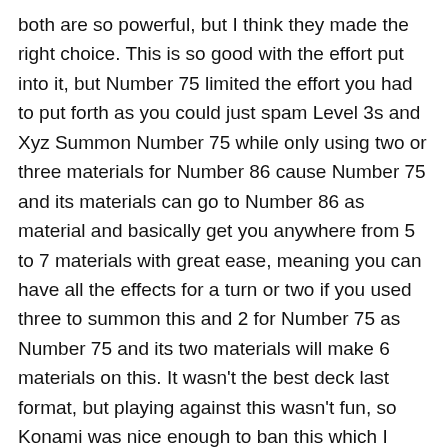both are so powerful, but I think they made the right choice. This is so good with the effort put into it, but Number 75 limited the effort you had to put forth as you could just spam Level 3s and Xyz Summon Number 75 while only using two or three materials for Number 86 cause Number 75 and its materials can go to Number 86 as material and basically get you anywhere from 5 to 7 materials with great ease, meaning you can have all the effects for a turn or two if you used three to summon this and 2 for Number 75 as Number 75 and its two materials will make 6 materials on this. It wasn't the best deck last format, but playing against this wasn't fun, so Konami was nice enough to ban this which I guess gives them room to design Level 4 Warriors with greater ease again. Number 75 limits the effort you need to put forth in this, cause the effort was what made it balanced.